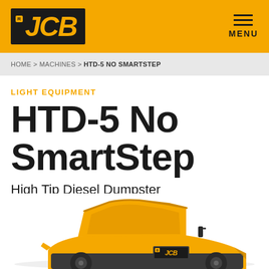JCB logo and MENU navigation
HOME > MACHINES > HTD-5 NO SMARTSTEP
LIGHT EQUIPMENT
HTD-5 No SmartStep
High Tip Diesel Dumpster
[Figure (photo): Yellow JCB HTD-5 No SmartStep High Tip Diesel Dumpster machine, partially visible at bottom of page]